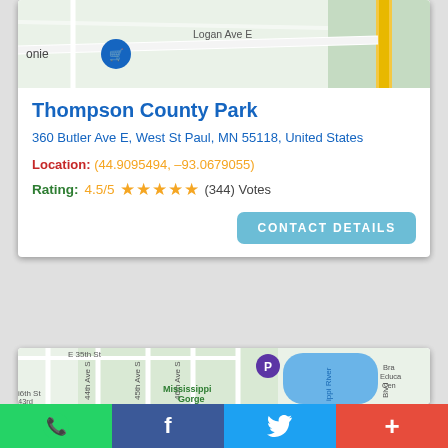[Figure (map): Google Maps partial view showing Logan Ave E area with a shopping location marker]
Thompson County Park
360 Butler Ave E, West St Paul, MN 55118, United States
Location: (44.9095494, -93.0679055)
Rating: 4.5/5 ★★★★★ (344) Votes
CONTACT DETAILS
[Figure (map): Google Maps view showing E 35th St area, 46th Ave S, Mississippi Gorge, Mississippi River, Bra Educa Cen location with a parking/place marker]